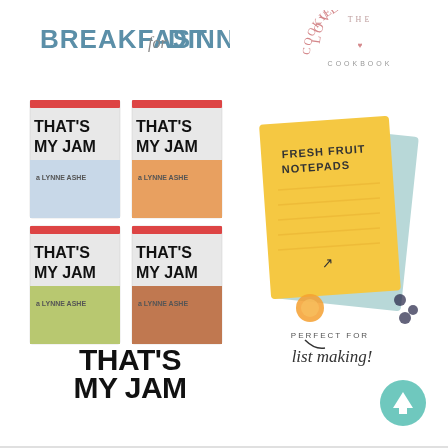[Figure (logo): BREAKFAST for DINNER logo in bold blue and grey text]
[Figure (logo): THE COOKIE DOUGH LOVER'S COOKBOOK logo in pink arc text]
[Figure (photo): Four book covers of 'THAT'S MY JAM' arranged in a 2x2 grid with large bold 'THAT'S MY JAM' text below]
[Figure (photo): Fresh Fruit Notepads product photo - yellow and blue notepads with fruit decorations, text 'FRESH FRUIT NOTEPADS' and 'PERFECT FOR list making!']
[Figure (illustration): Teal circular scroll-to-top button with upward arrow in bottom right corner]